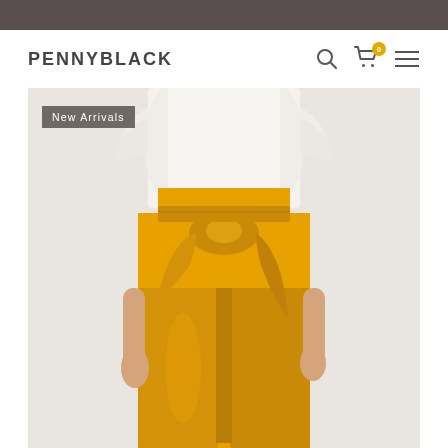PENNYBLACK
[Figure (photo): Fashion product photo showing a model wearing yellow/mustard wide-leg trousers with a tie waist and a white ruffled top, shot against a light grey background. The image is cropped at chest height showing the torso and legs.]
New Arrivals